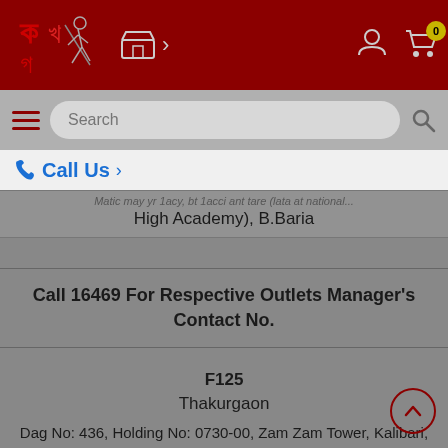Navigation bar with logo, store icon, user icon, and cart (0)
Search
Call Us >
High Academy), B.Baria
Call 16469 For Respective Outlets Manager's Contact No.
F125
Thakurgaon
Dag No: 436, Holding No: 0730-00, Zam Zam Tower, Kalibari, Bango Bandhu Sarok, Thana: Thakurgaon, District: Thakurgaobn-5100